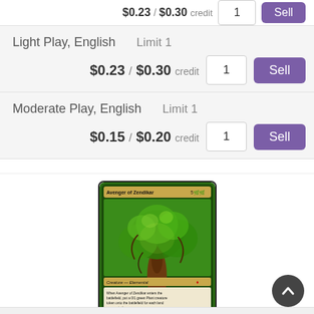$0.23 / $0.30 credit
Light Play, English    Limit 1
$0.23 / $0.30 credit
Moderate Play, English    Limit 1
$0.15 / $0.20 credit
[Figure (illustration): Magic: The Gathering card - Avenger of Zendikar. Green creature card showing a large tree elemental. Card text: Creature - Elemental. When Avenger of Zendikar enters the battlefield, put a 0/1 green Plant creature token onto the battlefield for each land you control. Landfall - Whenever a land enters the battlefield under your control, you may put a +1/+1 counter on each Plant creature you control. 5/5]
Avenger of Zendikar